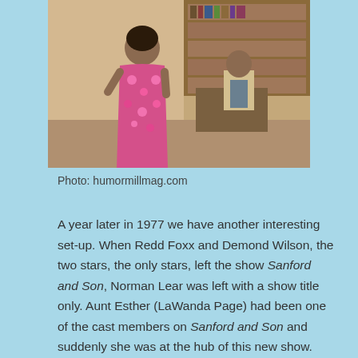[Figure (photo): A television scene showing a woman in a pink floral dress standing and a man seated at a desk in an indoor set with bookshelves in the background.]
Photo: humormillmag.com
A year later in 1977 we have another interesting set-up. When Redd Foxx and Demond Wilson, the two stars, the only stars, left the show Sanford and Son, Norman Lear was left with a show title only. Aunt Esther (LaWanda Page) had been one of the cast members on Sanford and Son and suddenly she was at the hub of this new show. Phil Wheeler (Theodore Wilson) a widower